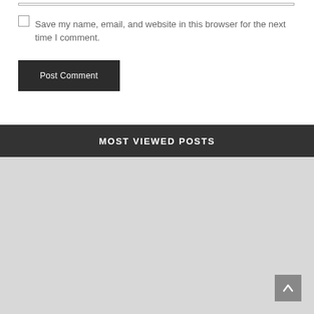Save my name, email, and website in this browser for the next time I comment.
Post Comment
MOST VIEWED POSTS